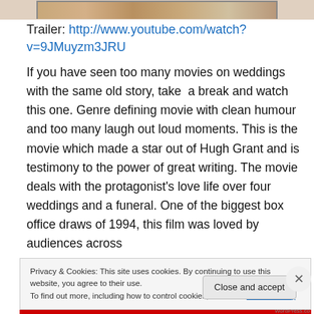[Figure (photo): Top portion of a movie poster or image, partially visible at the top of the page]
Trailer: http://www.youtube.com/watch?v=9JMuyzm3JRU
If you have seen too many movies on weddings with the same old story, take  a break and watch this one. Genre defining movie with clean humour and too many laugh out loud moments. This is the movie which made a star out of Hugh Grant and is testimony to the power of great writing. The movie deals with the protagonist's love life over four weddings and a funeral. One of the biggest box office draws of 1994, this film was loved by audiences across
Privacy & Cookies: This site uses cookies. By continuing to use this website, you agree to their use.
To find out more, including how to control cookies, see here: Cookie Policy
Close and accept